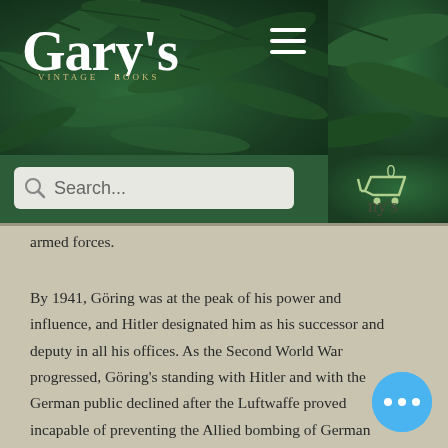[Figure (screenshot): Gary's Vintage Books website header with dark green background featuring tropical fern leaves, white serif logo text, hamburger menu icon, search bar, and shopping cart icon showing 0 items]
ny's armed forces.
By 1941, Göring was at the peak of his power and influence, and Hitler designated him as his successor and deputy in all his offices. As the Second World War progressed, Göring's standing with Hitler and with the German public declined after the Luftwaffe proved incapable of preventing the Allied bombing of German
[Figure (other): Blue circular button with three dots (more options button)]